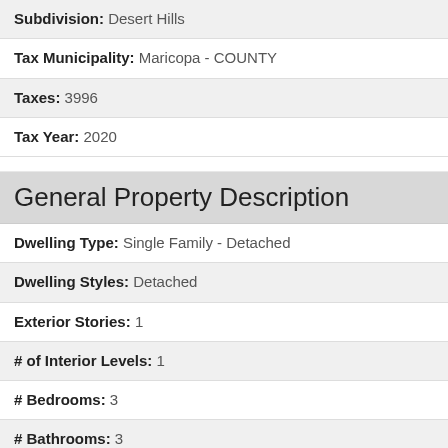Subdivision: Desert Hills
Tax Municipality: Maricopa - COUNTY
Taxes: 3996
Tax Year: 2020
General Property Description
Dwelling Type: Single Family - Detached
Dwelling Styles: Detached
Exterior Stories: 1
# of Interior Levels: 1
# Bedrooms: 3
# Bathrooms: 3
Approx SQFT: 4130
Price/SqFt: 236.08